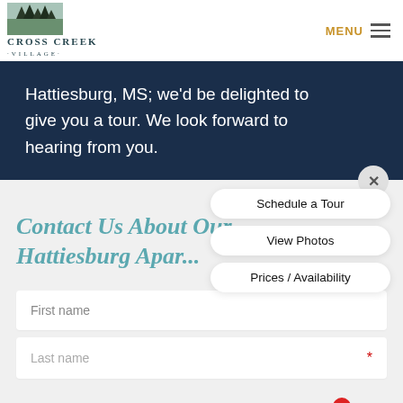[Figure (logo): Cross Creek Village logo with tree silhouette image and text]
Hattiesburg, MS; we'd be delighted to give you a tour. We look forward to hearing from you.
Schedule a Tour
View Photos
Prices / Availability
Contact Us About Our Hattiesburg Apar...
First name
Last name